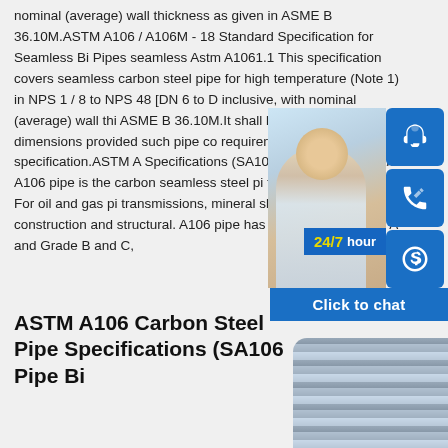nominal (average) wall thickness as given in ASME B 36.10M.ASTM A106 / A106M - 18 Standard Specification for Seamless Bi Pipes seamless Astm A1061.1 This specification covers seamless carbon steel pipe for high temperature (Note 1) in NPS 1 / 8 to NPS 48 [DN 6 to D inclusive, with nominal (average) wall thickness as given in ASME B 36.10M.It shall be permissible to furnish pipe in other dimensions provided such pipe complies with all requirements of this specification.ASTM A106 Specifications (SA106 Pipe Bi Pipes seamless) ASTM A106 pipe is the carbon seamless steel pipe widely used for different industries. For oil and gas pipeline transmissions, mineral slurry, boiler and high pressure construction and structural. A106 pipe has three grades Grade A and Grade B and C,
[Figure (photo): Customer service representative smiling with headset, with 24/7 hour badge and blue chat/phone/Skype icon buttons overlay, and 'Click to chat' bar at bottom]
ASTM A106 Carbon Steel Pipe Specifications (SA106 Pipe Bi Pipes seamless Astm A106
[Figure (photo): Stack of metallic steel pipes viewed from the end, showing circular cross-sections]